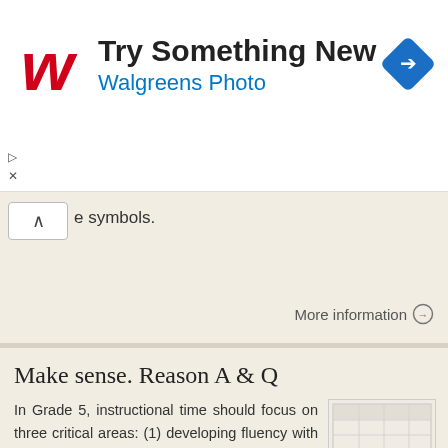[Figure (screenshot): Walgreens Photo advertisement banner with red W logo, 'Try Something New' heading, 'Walgreens Photo' subtext in blue, and a blue diamond navigation icon on the right. Play and close control icons on the left.]
e symbols.
More information →
Make sense. Reason A & Q
In Grade 5, instructional time should focus on three critical areas: (1) developing fluency with addition and subtraction of fractions, and developing understanding of the multiplication of fractions and
[Figure (table-as-image): Small thumbnail image of a table/worksheet document]
More information →
COURSE LEVEL UNIT/FOCUS Desired
Results Transfer Meaning Acquisition